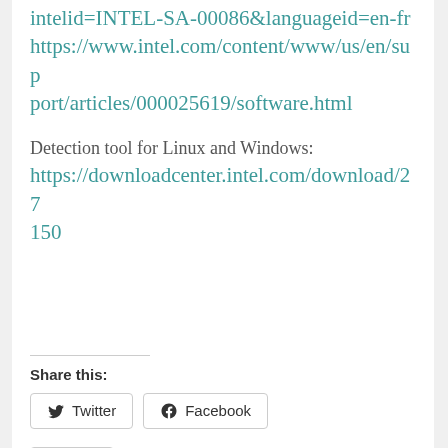intelid=INTEL-SA-00086&languageid=en-fr https://www.intel.com/content/www/us/en/support/articles/000025619/software.html
Detection tool for Linux and Windows: https://downloadcenter.intel.com/download/27150
Share this:
Twitter   Facebook
Like
Be the first to like this.